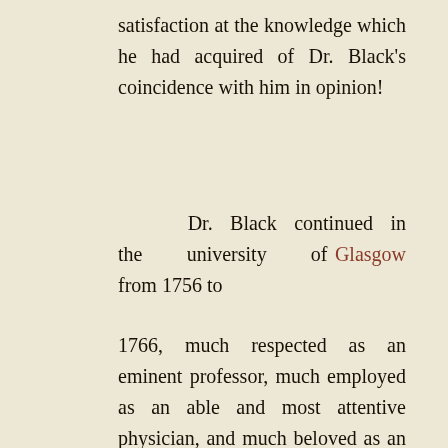satisfaction at the knowledge which he had acquired of Dr. Black's coincidence with him in opinion!
Dr. Black continued in the university of Glasgow from 1756 to
1766, much respected as an eminent professor, much employed as an able and most attentive physician, and much beloved as an amiable and accomplished gentleman, and happy in the enjoyment of a small